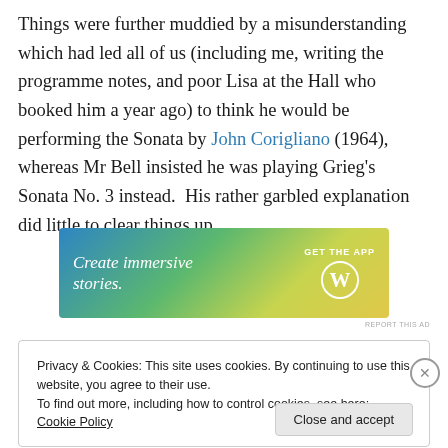Things were further muddied by a misunderstanding which had led all of us (including me, writing the programme notes, and poor Lisa at the Hall who booked him a year ago) to think he would be performing the Sonata by John Corigliano (1964), whereas Mr Bell insisted he was playing Grieg's Sonata No. 3 instead.  His rather garbled explanation did little to clear things up.
[Figure (infographic): Advertisement banner with gradient background (blue to yellow-green). Text reads 'Create immersive stories.' on the left and 'GET THE APP' with a WordPress logo on the right.]
Privacy & Cookies: This site uses cookies. By continuing to use this website, you agree to their use.
To find out more, including how to control cookies, see here: Cookie Policy
Close and accept